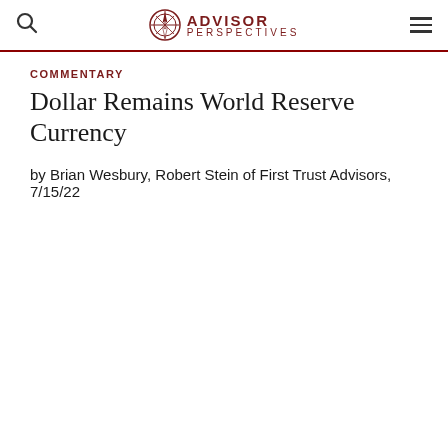ADVISOR PERSPECTIVES
COMMENTARY
Dollar Remains World Reserve Currency
by Brian Wesbury, Robert Stein of First Trust Advisors, 7/15/22